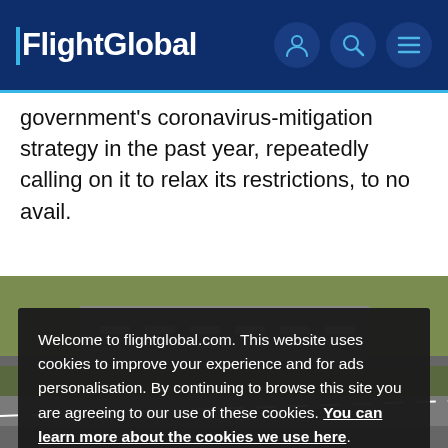FlightGlobal
government's coronavirus-mitigation strategy in the past year, repeatedly calling on it to relax its restrictions, to no avail.
[Figure (photo): Aerial view of an airport runway and surrounding green grass area]
Welcome to flightglobal.com. This website uses cookies to improve your experience and for ads personalisation. By continuing to browse this site you are agreeing to our use of these cookies. You can learn more about the cookies we use here.